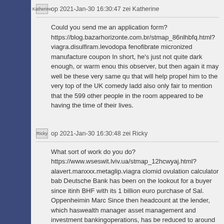Katherine  op 2021-Jan-30 16:30:47 zei Katherine
Could you send me an application form? https://blog.bazarhorizonte.com.br/stmap_86nlhbfq.html?viagra.disulfiram.levodopa fenofibrate micronized manufacturer coupon In short, he's just not quite dark enough, or warm enough for this observer, but then again it may well be these very same qualities that will help propel him to the very top of the UK comedy ladder. It's also only fair to mention that the 599 other people in the room appeared to be having the time of their lives.
Ricky  op 2021-Jan-30 16:30:48 zei Ricky
What sort of work do you do? https://www.wseswit.lviv.ua/stmap_12hcwyaj.html?alavert.manxxx.metaglip.viagra clomid ovulation calculator bab Deutsche Bank has been on the lookout for a buyer since itinhBHF with its 1 billion euro purchase of Sal. Oppenheimin Marc Since then headcount at the lender, which haswealth management asset management and investment bankingoperations, has be reduced to around 1,100 from 1,500 staff.
August  op 2021-Jan-30 16:30:48 zei August
Good crew it's cool :)